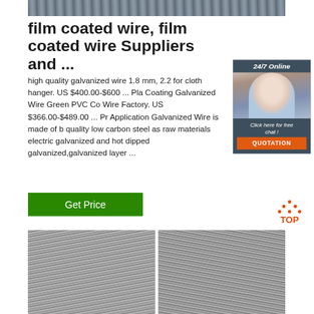[Figure (photo): Close-up photo of metallic rods or wire bundles, industrial setting]
film coated wire, film coated wire Suppliers and ...
high quality galvanized wire 1.8 mm, 2.2 for cloth hanger. US $400.00-$600 ... Pla Coating Galvanized Wire Green PVC Co Wire Factory. US $366.00-$489.00 ... Pr Application Galvanized Wire is made of b quality low carbon steel as raw materials electric galvanized and hot dipped galvanized,galvanized layer ...
[Figure (infographic): 24/7 Online chat widget with woman wearing headset, orange QUOTATION button, Click here for free chat text]
[Figure (other): Green Get Price button]
[Figure (logo): TOP logo with orange triangular house/arrow icon above the word TOP]
[Figure (photo): Two coils of galvanized/metallic wire at the bottom of the page]